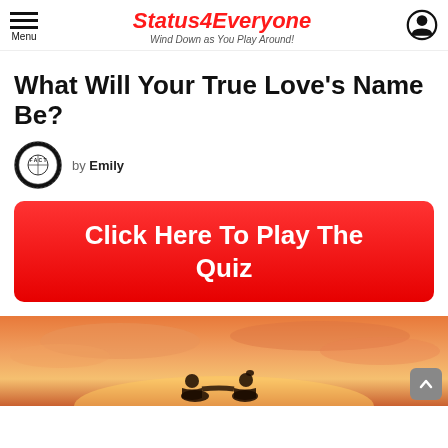Status4Everyone – Wind Down as You Play Around!
What Will Your True Love's Name Be?
by Emily
Click Here To Play The Quiz
[Figure (photo): Two silhouettes of a couple sitting together against a warm orange sunset sky]